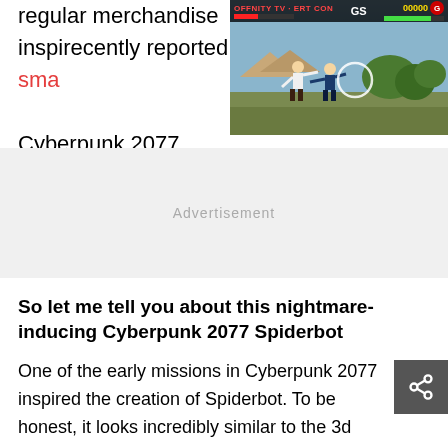regular merchandise inspi... recently reported on a sma... Cyberpunk 2077.
[Figure (screenshot): Screenshot of a retro fighting video game with HUD bars, two fighters on screen, a circle targeting reticle, set against a pagoda/temple background.]
Advertisement
So let me tell you about this nightmare-inducing Cyberpunk 2077 Spiderbot
One of the early missions in Cyberpunk 2077 inspired the creation of Spiderbot. To be honest, it looks incredibly similar to the 3d model. I congratulate whoever made it for a job well done.